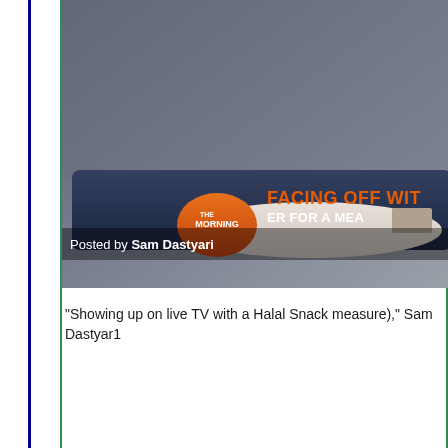[Figure (screenshot): TV show screenshot showing 'The Morning' with 'FACING OFF WIT...' banner in orange text and 'OFFER FOR A MEA...' subtitle. Two people on couch visible. 'Posted by Sam Dastyari' overlay text visible.]
"Showing up on live TV with a Halal Snack measure)," Sam Dastyar1
[Figure (screenshot): Sky News Australia screenshot showing city buildings skyline with Sky NEWS .COM.AU logo overlay and partial view of a person on the right.]
Th